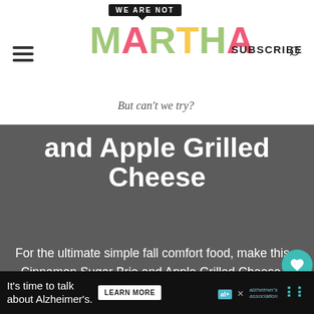WE ARE NOT MARTHA | But can't we try? | SUBSCRIBE
and Apple Grilled Cheese
For the ultimate simple fall comfort food, make this Cinnamon Sugar Brie and Apple Grilled Cheese. With layers of melty brie and apples sandwiched between toasty cinnamon sugar bread, this is the kind of comfort food you crave in the fall.
No ratings yet
WHAT'S NEXT → Jalapeño Popper Grill...
It's time to talk about Alzheimer's. LEARN MORE